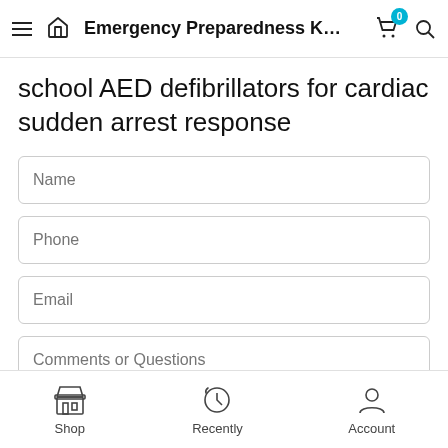Emergency Preparedness K...
school AED defibrillators for cardiac sudden arrest response
Name
Phone
Email
Comments or Questions
Shop   Recently   Account